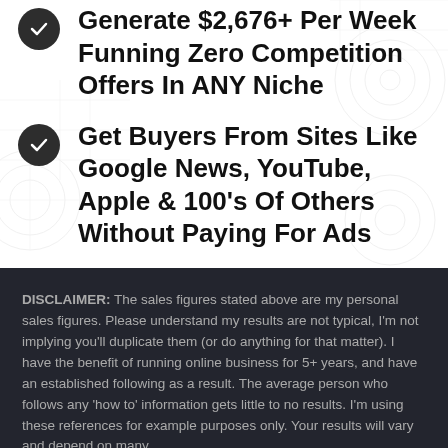Generate $2,676+ Per Week Funning Zero Competition Offers In ANY Niche
Get Buyers From Sites Like Google News, YouTube, Apple & 100's Of Others Without Paying For Ads
DISCLAIMER: The sales figures stated above are my personal sales figures. Please understand my results are not typical, I'm not implying you'll duplicate them (or do anything for that matter). I have the benefit of running online business for 5+ years, and have an established following as a result. The average person who follows any 'how to' information gets little to no results. I'm using these references for example purposes only. Your results will vary and depend on many